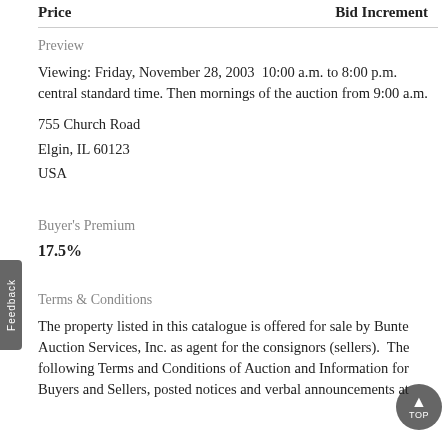Price   Bid Increment
Preview
Viewing: Friday, November 28, 2003  10:00 a.m. to 8:00 p.m. central standard time. Then mornings of the auction from 9:00 a.m.
755 Church Road
Elgin, IL 60123
USA
Buyer's Premium
17.5%
Terms & Conditions
The property listed in this catalogue is offered for sale by Bunte Auction Services, Inc. as agent for the consignors (sellers).  The following Terms and Conditions of Auction and Information for Buyers and Sellers, posted notices and verbal announcements at